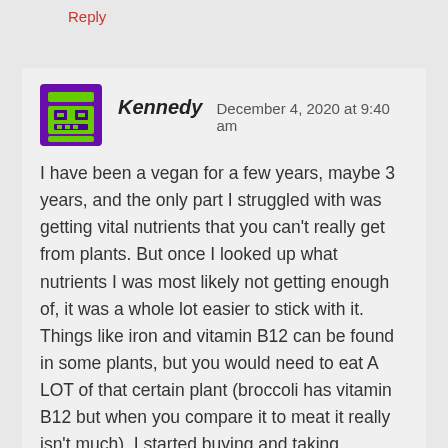Reply
[Figure (illustration): Pixel art avatar icon: purple background with green robot/monster face]
Kennedy   December 4, 2020 at 9:40 am
I have been a vegan for a few years, maybe 3 years, and the only part I struggled with was getting vital nutrients that you can't really get from plants. But once I looked up what nutrients I was most likely not getting enough of, it was a whole lot easier to stick with it. Things like iron and vitamin B12 can be found in some plants, but you would need to eat A LOT of that certain plant (broccoli has vitamin B12 but when you compare it to meat it really isn't much). I started buying and taking supplements to make sure I was getting the nutrients I was lacking and that made a huge